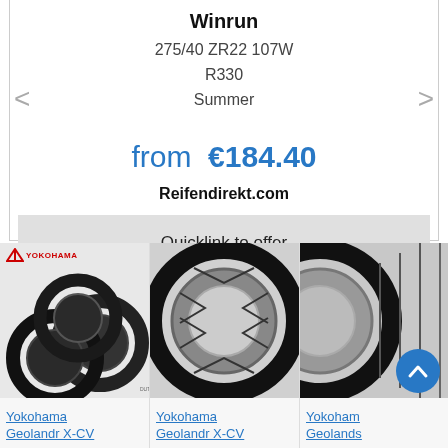Winrun
275/40 ZR22 107W
R330
Summer
from €184.40
Reifendirekt.com
Quicklink to offer
[Figure (photo): Three Yokohama tires stacked, with Yokohama logo top-left]
Yokohama
Geolandr X-CV
[Figure (photo): Close-up of a Yokohama tire tread pattern]
Yokohama
Geolandr X-CV
[Figure (photo): Partial view of a tire, cropped at right edge]
Yokoham
Geolands